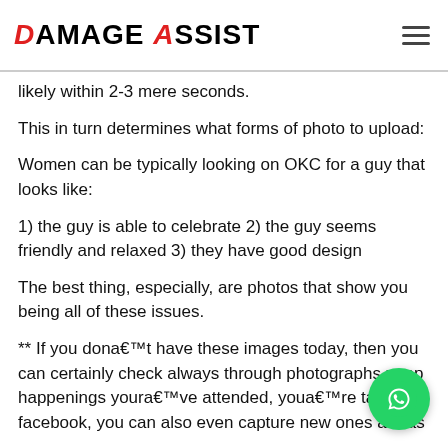DAMAGE ASSIST
likely within 2-3 mere seconds.
This in turn determines what forms of photo to upload:
Women can be typically looking on OKC for a guy that looks like:
1) the guy is able to celebrate 2) the guy seems friendly and relaxed 3) they have good design
The best thing, especially, are photos that show you being all of these issues.
** If you dona€TMt have these images today, then you can certainly check always through photographs people happenings youra€TMve attended, youa€TMre tagged in facebook, you can also even capture new ones a€" as